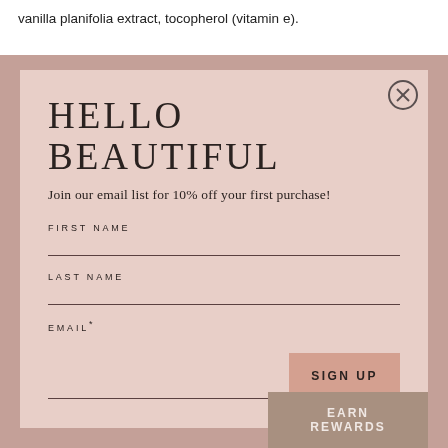vanilla planifolia extract, tocopherol (vitamin e).
[Figure (screenshot): Email signup modal popup with pink/blush background. Contains title 'HELLO BEAUTIFUL', subtitle 'Join our email list for 10% off your first purchase!', form fields for FIRST NAME, LAST NAME, EMAIL*, a SIGN UP button, and an EARN REWARDS button at bottom right. Close button (X) in top right corner.]